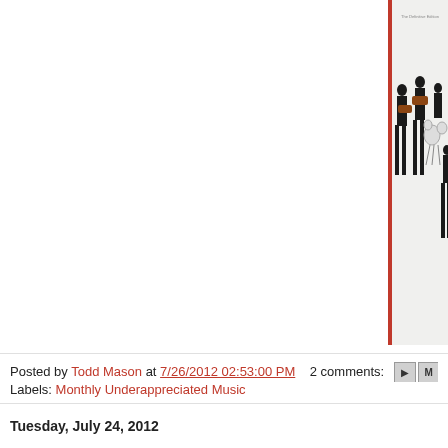[Figure (photo): Album cover showing a band of four young men in dark suits, two playing guitars and one at a drum kit, against a white background with a red border frame and text 'The Definitive Edition' at top]
Posted by Todd Mason at 7/26/2012 02:53:00 PM   2 comments:
Labels: Monthly Underappreciated Music
Tuesday, July 24, 2012